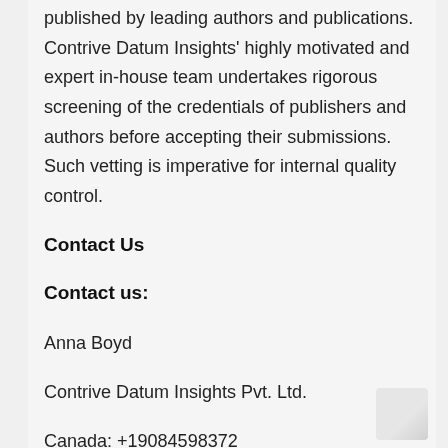published by leading authors and publications. Contrive Datum Insights' highly motivated and expert in-house team undertakes rigorous screening of the credentials of publishers and authors before accepting their submissions. Such vetting is imperative for internal quality control.
Contact Us
Contact us:
Anna Boyd
Contrive Datum Insights Pvt. Ltd.
Canada: +19084598372